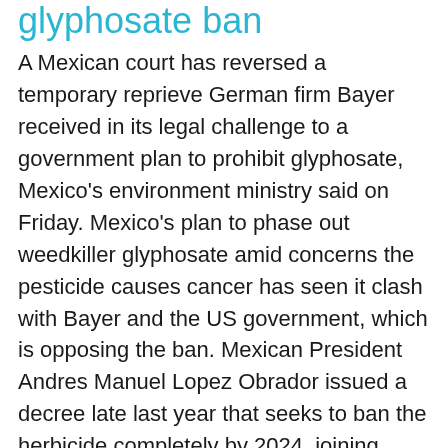glyphosate ban
A Mexican court has reversed a temporary reprieve German firm Bayer received in its legal challenge to a government plan to prohibit glyphosate, Mexico's environment ministry said on Friday. Mexico's plan to phase out weedkiller glyphosate amid concerns the pesticide causes cancer has seen it clash with Bayer and the US government, which is opposing the ban. Mexican President Andres Manuel Lopez Obrador issued a decree late last year that seeks to ban the herbicide completely by 2024, joining several other governments that have sought to restrict its use, including Germany. He described the chemical as toxic.
Industry attacks Mexico's glyphosate ban
Pressure on Mexico to reverse its intended ban on glyphosate and phaseout of genetically engineered corn